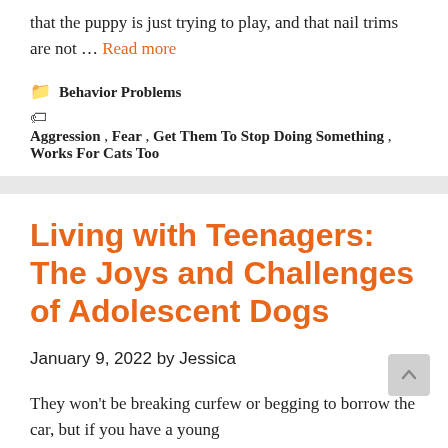that the puppy is just trying to play, and that nail trims are not … Read more
Categories: Behavior Problems
Tags: Aggression, Fear, Get Them To Stop Doing Something, Works For Cats Too
Living with Teenagers: The Joys and Challenges of Adolescent Dogs
January 9, 2022 by Jessica
They won't be breaking curfew or begging to borrow the car, but if you have a young …